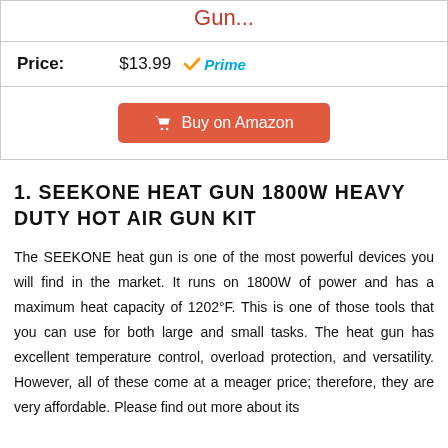Gun...
| Price: | $13.99 Prime |
|  | Buy on Amazon |
1. SEEKONE HEAT GUN 1800W HEAVY DUTY HOT AIR GUN KIT
The SEEKONE heat gun is one of the most powerful devices you will find in the market. It runs on 1800W of power and has a maximum heat capacity of 1202°F. This is one of those tools that you can use for both large and small tasks. The heat gun has excellent temperature control, overload protection, and versatility. However, all of these come at a meager price; therefore, they are very affordable. Please find out more about its